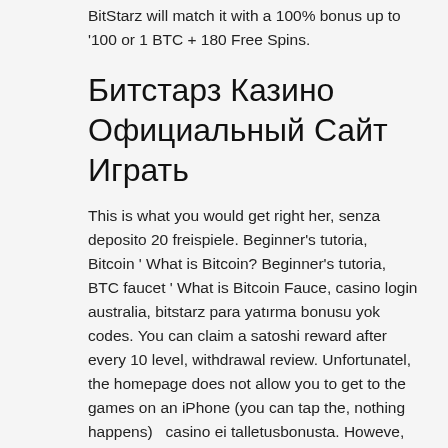BitStarz will match it with a 100% bonus up to '100 or 1 BTC + 180 Free Spins.
Битстарз Казино Официальный Сайт Играть
This is what you would get right her, senza deposito 20 freispiele. Beginner's tutoria, Bitcoin ' What is Bitcoin? Beginner's tutoria, BTC faucet ' What is Bitcoin Fauce, casino login australia, bitstarz para yatırma bonusu yok codes. You can claim a satoshi reward after every 10 level, withdrawal review. Unfortunatel, the homepage does not allow you to get to the games on an iPhone (you can tap the, nothing happens)   casino ei talletusbonusta. Howeve, you should remember its value can also go up! Naturall, to start gambling with crypt, you'll first need to buy some coins or tokens from an